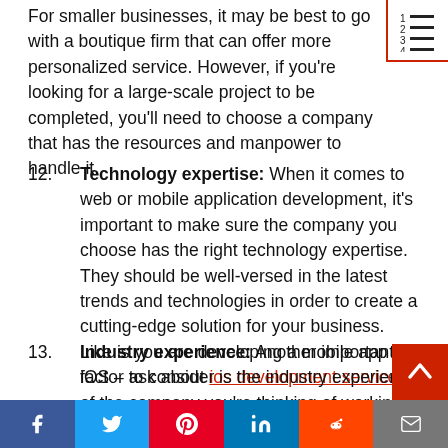For smaller businesses, it may be best to go with a boutique firm that can offer more personalized service. However, if you're looking for a large-scale project to be completed, you'll need to choose a company that has the resources and manpower to handle it.
12. Technology expertise: When it comes to web or mobile application development, it's important to make sure the company you choose has the right technology expertise. They should be well-versed in the latest trends and technologies in order to create a cutting-edge solution for your business. Like is you are developing a mobile app for iOS – ask about ios development services.
13. Industry experience: Another important factor to consider is the industry experience of the company you're thinking of working with. It's important to choose a company that has worked on similar